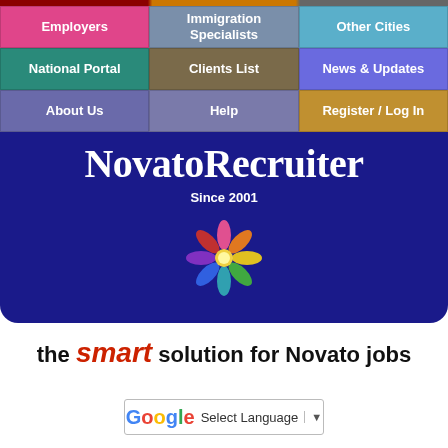Navigation grid with: Employers, Immigration Specialists, Other Cities, National Portal, Clients List, News & Updates, About Us, Help, Register / Log In
NovatoRecruiter
Since 2001
[Figure (logo): Colorful flower/star logo with people figures in multiple colors radiating from center]
the smart solution for Novato jobs
[Figure (other): Google Translate widget with G logo, Select Language text and dropdown arrow]